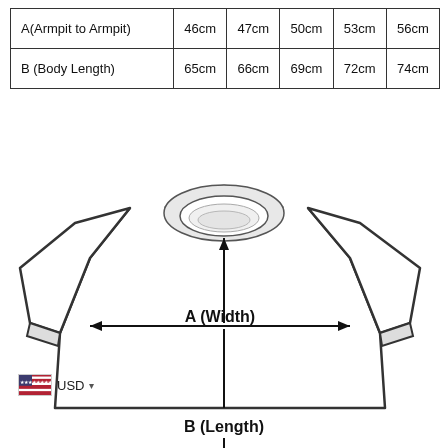|  |  |  |  |  |  |
| --- | --- | --- | --- | --- | --- |
| A(Armpit to Armpit) | 46cm | 47cm | 50cm | 53cm | 56cm |
| B (Body Length) | 65cm | 66cm | 69cm | 72cm | 74cm |
[Figure (illustration): T-shirt flat lay diagram showing measurement dimensions: A (Width) measured horizontally armpit to armpit with double-headed arrow, and B (Length) measured vertically with downward arrow. The t-shirt outline is shown from front view with crew neck collar.]